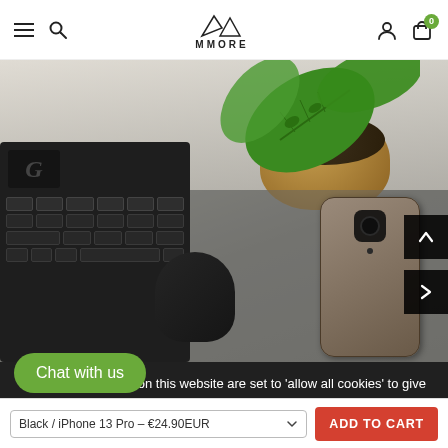MMORE — navigation bar with menu, search, logo, account, cart (0)
[Figure (photo): Desk scene with Logitech G keyboard, black mouse, felt desk mat, green monstera plant in gold pot, and a brown leather phone case with camera module visible. Overhead/flat-lay perspective.]
The cookie settings on this website are set to 'allow all cookies' to give you the very best experience. Please click Accept Cookies to continue to use the site.
PRIVACY POLICY   ACCEPT ✓
Chat with us
Black / iPhone 13 Pro – €24.90EUR
ADD TO CART